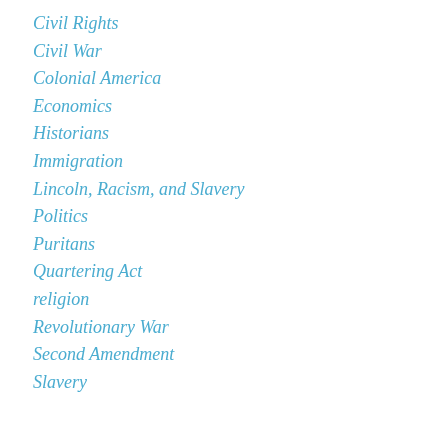Civil Rights
Civil War
Colonial America
Economics
Historians
Immigration
Lincoln, Racism, and Slavery
Politics
Puritans
Quartering Act
religion
Revolutionary War
Second Amendment
Slavery